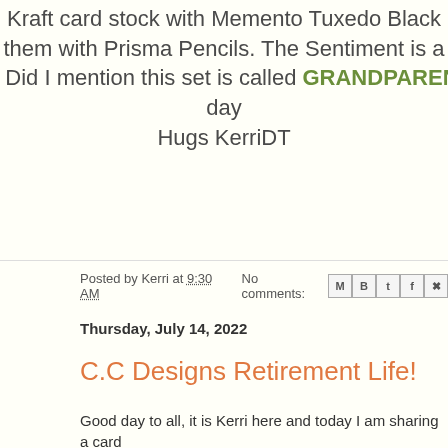Kraft card stock with Memento Tuxedo Black them with Prisma Pencils. The Sentiment is a Did I mention this set is called GRANDPARENTS day Hugs KerriDT
Posted by Kerri at 9:30 AM   No comments:
Thursday, July 14, 2022
C.C Designs Retirement Life!
Good day to all, it is Kerri here and today I am sharing a card the NEW RELEASE. The set is called RETIREMENT LIFE